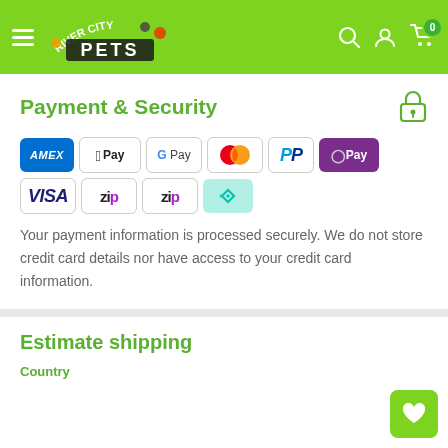[Figure (logo): River City Pets logo on green header bar with hamburger menu, search, account, and cart icons]
Payment & Security
[Figure (infographic): Payment method icons: Amex, Apple Pay, Google Pay, Mastercard, PayPal, OPay, Visa, Zip, Zip, Afterpay]
Your payment information is processed securely. We do not store credit card details nor have access to your credit card information.
Estimate shipping
Country